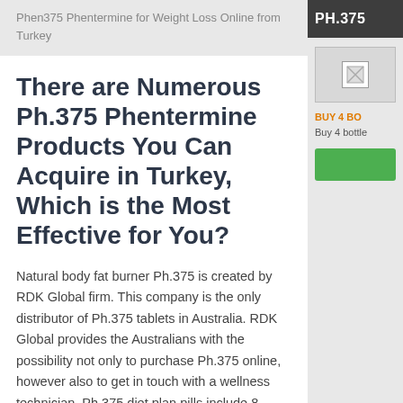Phen375 Phentermine for Weight Loss Online from Turkey
There are Numerous Ph.375 Phentermine Products You Can Acquire in Turkey, Which is the Most Effective for You?
Natural body fat burner Ph.375 is created by RDK Global firm. This company is the only distributor of Ph.375 tablets in Australia. RDK Global provides the Australians with the possibility not only to purchase Ph.375 online, however also to get in touch with a wellness technician. Ph.375 diet plan pills include 8
[Figure (other): Right sidebar with PH.375 branding header in dark grey, a broken image placeholder, orange BUY 4 BO... label, buy 4 bottle description text, and a green button]
PH.375
BUY 4 BO
Buy 4 bottle